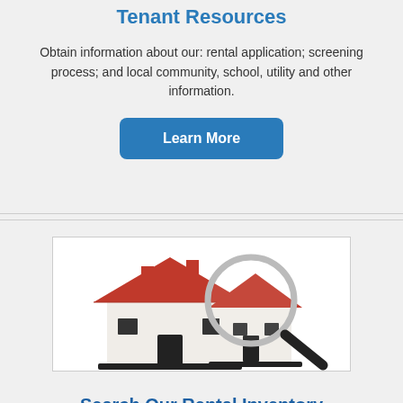Tenant Resources
Obtain information about our: rental application; screening process; and local community, school, utility and other information.
[Figure (other): Learn More button - blue rounded rectangle]
[Figure (illustration): 3D illustration of a small house model with red roof and a magnifying glass overlaid on top]
Search Our Rental Inventory
View our office's currently available rental inventory including: property descriptions, photo galleries, maps; and other area